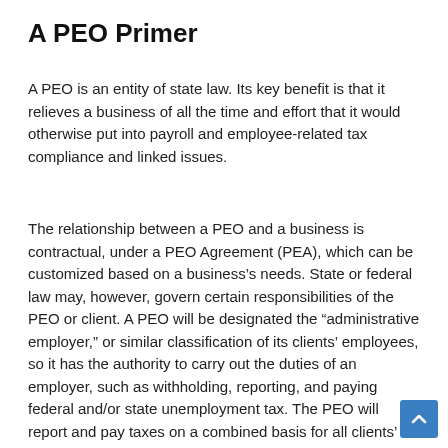A PEO Primer
A PEO is an entity of state law. Its key benefit is that it relieves a business of all the time and effort that it would otherwise put into payroll and employee-related tax compliance and linked issues.
The relationship between a PEO and a business is contractual, under a PEO Agreement (PEA), which can be customized based on a business’s needs. State or federal law may, however, govern certain responsibilities of the PEO or client. A PEO will be designated the “administrative employer,” or similar classification of its clients’ employees, so it has the authority to carry out the duties of an employer, such as withholding, reporting, and paying federal and/or state unemployment tax. The PEO will report and pay taxes on a combined basis for all clients’ employees under the PEO’s own federal employer identification number (FEIN).